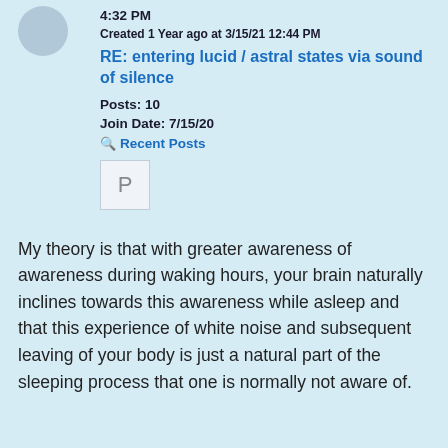4:32 PM
Created 1 Year ago at 3/15/21 12:44 PM
RE: entering lucid / astral states via sound of silence
Posts: 10
Join Date: 7/15/20
Recent Posts
[Figure (other): Letter P avatar/icon in a light box]
My theory is that with greater awareness of awareness during waking hours, your brain naturally inclines towards this awareness while asleep and that this experience of white noise and subsequent leaving of your body is just a natural part of the sleeping process that one is normally not aware of.